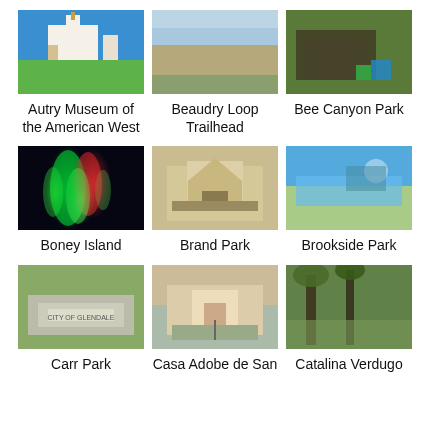[Figure (photo): Autry Museum of the American West building with blue sky]
Autry Museum of the American West
[Figure (photo): Beaudry Loop Trailhead aerial landscape view]
Beaudry Loop Trailhead
[Figure (photo): Bee Canyon Park playground area with trees]
Bee Canyon Park
[Figure (photo): Boney Island light show display at night]
Boney Island
[Figure (photo): Brand Park building with landscaped grounds]
Brand Park
[Figure (photo): Brookside Park with blue water feature and trees]
Brookside Park
[Figure (photo): Carr Park entrance sign in Glendale]
Carr Park
[Figure (photo): Casa Adobe de San building exterior]
Casa Adobe de San
[Figure (photo): Catalina Verdugo park with trees]
Catalina Verdugo